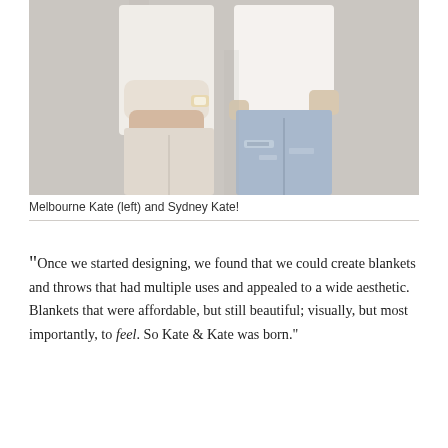[Figure (photo): Two women standing against a light gray concrete wall. The woman on the left wears a white top and light beige/cream pants, with a watch on her wrist. The woman on the right wears a white top and distressed ripped jeans. Both are photographed from the neck/chin down to about knee level.]
Melbourne Kate (left) and Sydney Kate!
“Once we started designing, we found that we could create blankets and throws that had multiple uses and appealed to a wide aesthetic. Blankets that were affordable, but still beautiful; visually, but most importantly, to feel. So Kate & Kate was born.”